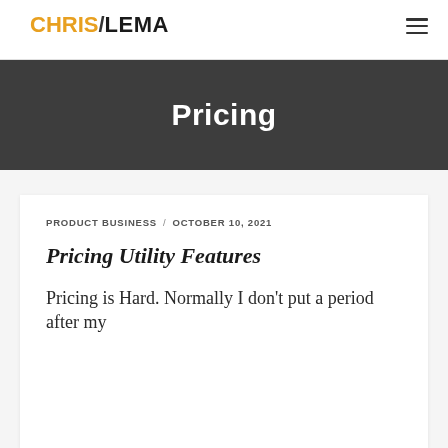CHRIS/LEMA
Pricing
PRODUCT BUSINESS / OCTOBER 10, 2021
Pricing Utility Features
Pricing is Hard. Normally I don't put a period after my